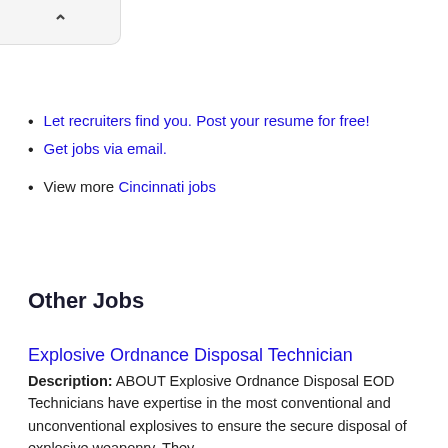^
Let recruiters find you. Post your resume for free!
Get jobs via email.
View more Cincinnati jobs
Other Jobs
Explosive Ordnance Disposal Technician
Description: ABOUT Explosive Ordnance Disposal EOD Technicians have expertise in the most conventional and unconventional explosives to ensure the secure disposal of explosive weaponry. They